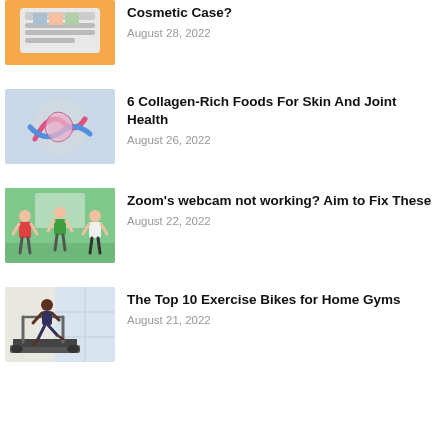[Figure (photo): Cosmetic case product photo on orange background]
Cosmetic Case?
August 28, 2022
[Figure (photo): Close-up of colorful painted hands on a joint or body part]
6 Collagen-Rich Foods For Skin And Joint Health
August 26, 2022
[Figure (illustration): Illustrated people in a virtual meeting on green background]
Zoom's webcam not working? Aim to Fix These
August 22, 2022
[Figure (photo): Person running on a treadmill in a bright room]
The Top 10 Exercise Bikes for Home Gyms
August 21, 2022